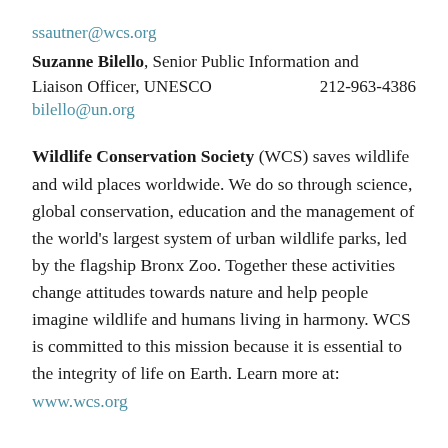ssautner@wcs.org
Suzanne Bilello, Senior Public Information and Liaison Officer, UNESCO    212-963-4386
bilello@un.org
Wildlife Conservation Society (WCS) saves wildlife and wild places worldwide. We do so through science, global conservation, education and the management of the world's largest system of urban wildlife parks, led by the flagship Bronx Zoo. Together these activities change attitudes towards nature and help people imagine wildlife and humans living in harmony. WCS is committed to this mission because it is essential to the integrity of life on Earth. Learn more at: www.wcs.org